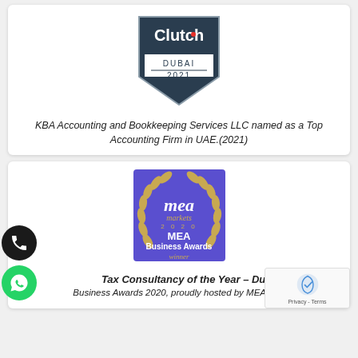[Figure (logo): Clutch badge showing Dubai 2021]
KBA Accounting and Bookkeeping Services LLC named as a Top Accounting Firm in UAE.(2021)
[Figure (logo): MEA Markets 2020 MEA Business Awards Winner badge on purple background with gold laurel wreath]
Tax Consultancy of the Year – Dubai
Business Awards 2020, proudly hosted by MEA Markets